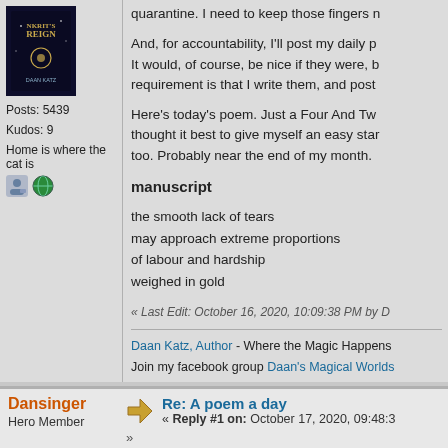[Figure (illustration): Book cover thumbnail for 'Daan Katz' with dark blue starry background]
Posts: 5439
Kudos: 9
Home is where the cat is
quarantine. I need to keep those fingers n
And, for accountability, I'll post my daily p It would, of course, be nice if they were, b requirement is that I write them, and post
Here's today's poem. Just a Four And Tw thought it best to give myself an easy star too. Probably near the end of my month.
manuscript
the smooth lack of tears
may approach extreme proportions
of labour and hardship
weighed in gold
« Last Edit: October 16, 2020, 10:09:38 PM by D
Daan Katz, Author - Where the Magic Happens
Join my facebook group Daan's Magical Worlds
Dansinger
Hero Member
Re: A poem a day
« Reply #1 on: October 17, 2020, 09:48:3
»